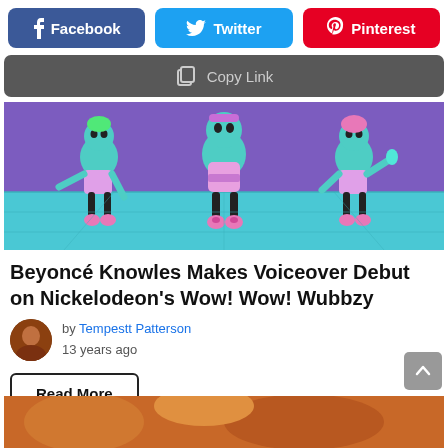[Figure (other): Social share buttons: Facebook (blue), Twitter (cyan), Pinterest (red)]
[Figure (other): Copy Link bar with copy icon]
[Figure (illustration): Animated cartoon characters from Nickelodeon's Wow! Wow! Wubbzy — three blue cartoon figures with pink accents dancing on a colorful stage]
Beyoncé Knowles Makes Voiceover Debut on Nickelodeon's Wow! Wow! Wubbzy
by Tempestt Patterson
13 years ago
Read More
[Figure (photo): Partial photo at bottom of page, appears to show a person with reddish/orange tones]